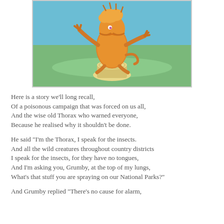[Figure (illustration): Dr. Seuss-style illustration of the Lorax (or Thorax) character — a small fuzzy orange creature with a large mustache, standing on a tree stump with arms/hands raised, against a blue and green background.]
Here is a story we'll long recall,
Of a poisonous campaign that was forced on us all,
And the wise old Thorax who warned everyone,
Because he realised why it shouldn't be done.

He said "I'm the Thorax, I speak for the insects.
And all the wild creatures throughout country districts
I speak for the insects, for they have no tongues,
And I'm asking you, Grumby, at the top of my lungs,
What's that stuff you are spraying on our National Parks?"

And Grumby replied "There's no cause for alarm,